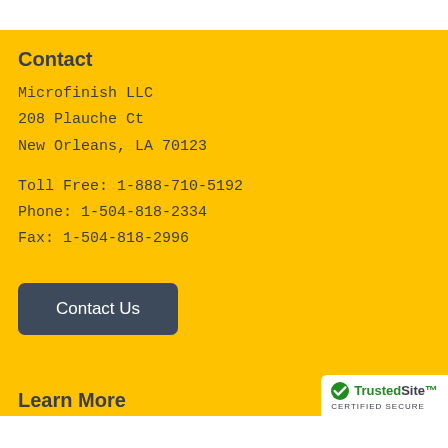Contact
Microfinish LLC
208 Plauche Ct
New Orleans, LA 70123
Toll Free: 1-888-710-5192
Phone: 1-504-818-2334
Fax: 1-504-818-2996
Contact Us
Learn More
[Figure (logo): TrustedSite certified secure badge with green checkmark]